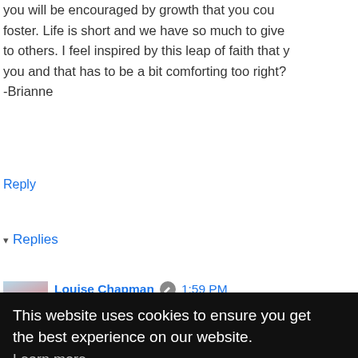you will be encouraged by growth that you could foster. Life is short and we have so much to give to others. I feel inspired by this leap of faith that you and that has to be a bit comforting too right? -Brianne
Reply
▾ Replies
Louise Chapman 🖋 1:59 PM
Yes Brianne, I do believe that God alrea
This website uses cookies to ensure you get the best experience on our website.
Learn more
Got it!
ers. Such
Reply